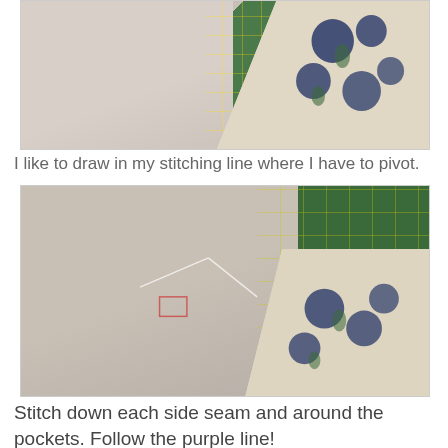[Figure (photo): Close-up photo of light gray fabric and floral blue fabric on a green cutting mat with a ruler visible at the bottom]
I like to draw in my stitching line where I have to pivot.
[Figure (photo): Close-up photo of light gray fabric folded over floral blue fabric on a green cutting mat with yellow grid lines, showing drawn stitching lines]
Stitch down each side seam and around the pockets. Follow the purple line!